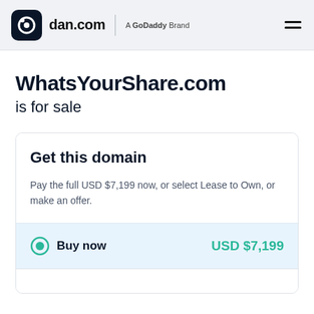dan.com — A GoDaddy Brand
WhatsYourShare.com is for sale
Get this domain
Pay the full USD $7,199 now, or select Lease to Own, or make an offer.
Buy now   USD $7,199